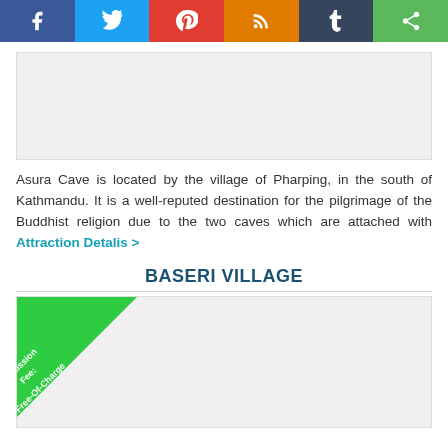[Figure (other): Social media sharing buttons: Facebook, Twitter, Pinterest, RSS, Tumblr, Share]
[Figure (other): Advertisement placeholder image]
Asura Cave is located by the village of Pharping, in the south of Kathmandu. It is a well-reputed destination for the pilgrimage of the Buddhist religion due to the two caves which are attached with Attraction Detalis >
BASERI VILLAGE
[Figure (other): Photo of Baseri Village with green triangle badge reading 'Admission Fee: Free-Of-Charge']